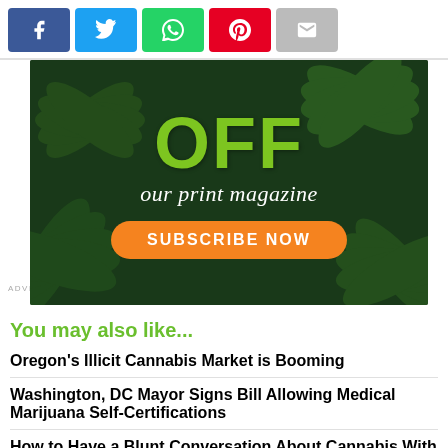[Figure (infographic): Social share buttons: Facebook (blue), Twitter (light blue), WhatsApp (green), Pinterest (red), Email (gray)]
[Figure (infographic): Advertisement banner for a print magazine subscription featuring cannabis leaves background, large green text 'OFF', white italic text 'our print magazine', and an orange 'SUBSCRIBE NOW' button. ADVERTISEMENT label on the left.]
You may also like...
Oregon's Illicit Cannabis Market is Booming
Washington, DC Mayor Signs Bill Allowing Medical Marijuana Self-Certifications
How to Have a Blunt Conversation About Cannabis With Your Dad
Driving High is Illegal, But What is Driving High?